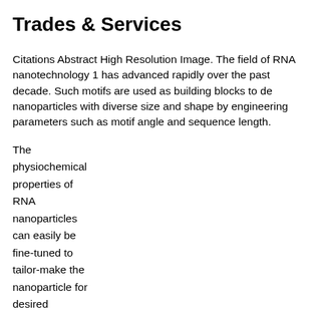Trades & Services
Citations Abstract High Resolution Image. The field of RNA nanotechnology 1 has advanced rapidly over the past decade. Such motifs are used as building blocks to de nanoparticles with diverse size and shape by engineering parameters such as motif angle and sequence length.
The physiochemical properties of RNA nanoparticles can easily be fine-tuned to tailor-make the nanoparticle for desired applications in